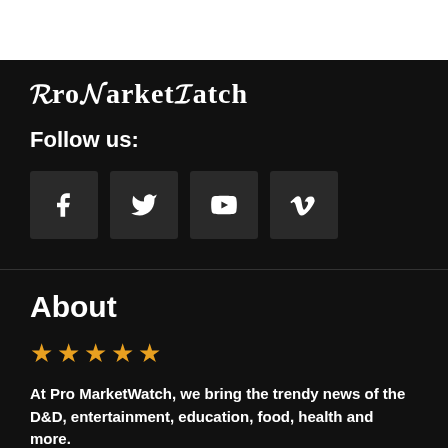Pro MarketWatch
Follow us:
[Figure (infographic): Four social media icon buttons: Facebook (f), Twitter (bird), YouTube (play button), Vimeo (V) — dark square buttons on dark background]
About
[Figure (infographic): Five gold/orange star rating icons]
At Pro MarketWatch, we bring the trendy news of the D&D, entertainment, education, food, health and more.